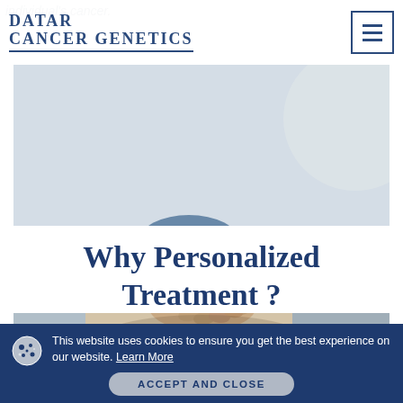DATAR CANCER GENETICS
individual's cancer.
[Figure (photo): Close-up photo of a person sitting with hands resting on lap, wearing a light blue shirt and beige pants, in a calming clinical or home setting]
Why Personalized Treatment ?
This website uses cookies to ensure you get the best experience on our website. Learn More
ACCEPT AND CLOSE